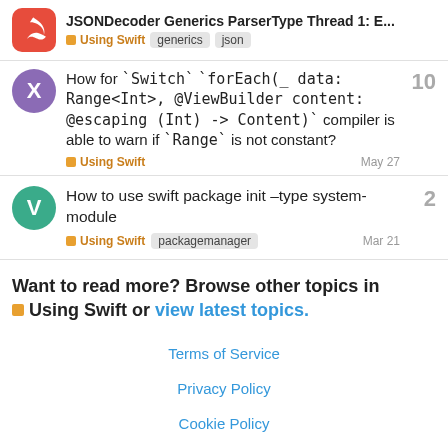JSONDecoder Generics ParserType Thread 1: E... | Using Swift | generics | json
How for `Switch` `forEach(_: data: Range<Int>, @ViewBuilder content: @escaping (Int) -> Content)` compiler is able to warn if `Range` is not constant?
Using Swift | May 27
How to use swift package init –type system-module
Using Swift | packagemanager | Mar 21
Want to read more? Browse other topics in Using Swift or view latest topics.
Terms of Service
Privacy Policy
Cookie Policy